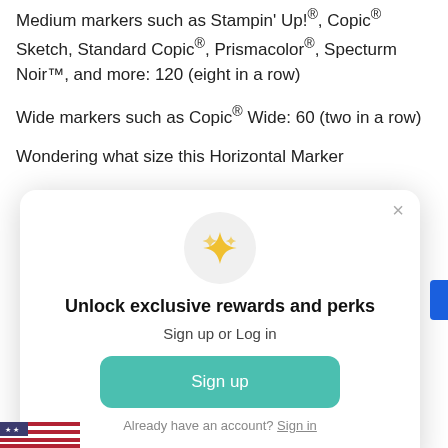Medium markers such as Stampin' Up!®, Copic® Sketch, Standard Copic®, Prismacolor®, Specturm Noir™, and more: 120 (eight in a row)
Wide markers such as Copic® Wide: 60 (two in a row)
Wondering what size this Horizontal Marker
[Figure (screenshot): Modal dialog with sparkle icon, title 'Unlock exclusive rewards and perks', subtitle 'Sign up or Log in', a teal 'Sign up' button, and 'Already have an account? Sign in' link. A close X button in the top right corner.]
[Figure (other): US flag partial view at bottom left corner]